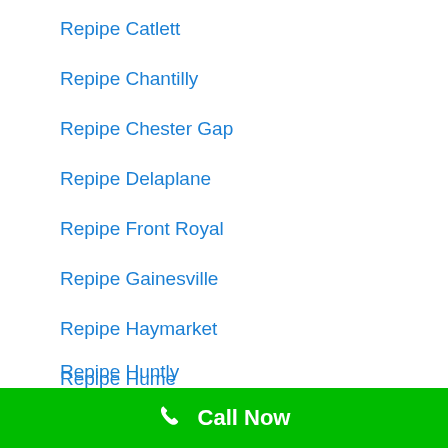Repipe Catlett
Repipe Chantilly
Repipe Chester Gap
Repipe Delaplane
Repipe Front Royal
Repipe Gainesville
Repipe Haymarket
Repipe Hume
Repipe Huntly
Call Now